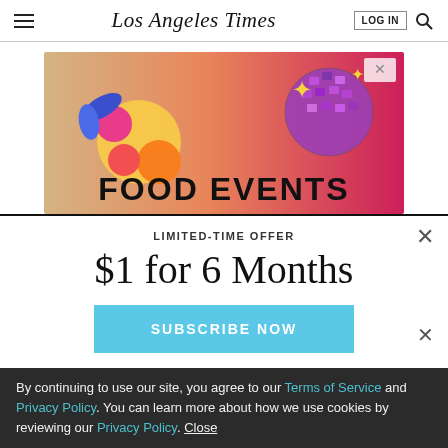Los Angeles Times
[Figure (illustration): Advertisement banner with colorful food-themed illustration on gradient background (tan to pink/red). Features a shrimp illustration on left, disco ball on upper right, gold sparkle stars, and bold text 'FOOD EVENTS' at the bottom.]
LIMITED-TIME OFFER
$1 for 6 Months
SUBSCRIBE NOW
By continuing to use our site, you agree to our Terms of Service and Privacy Policy. You can learn more about how we use cookies by reviewing our Privacy Policy. Close